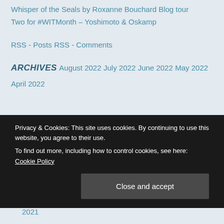Whisper of the Seals by Roxanne Bouchard Blog tour
Two for #WITMonth – Yoshimoto & Oskamp
RSS - Posts
RSS - Comments
ARCHIVES
August 2022
July 2022
June 2022
May 2022
April 2022
Privacy & Cookies: This site uses cookies. By continuing to use this website, you agree to their use. To find out more, including how to control cookies, see here: Cookie Policy
October 2021